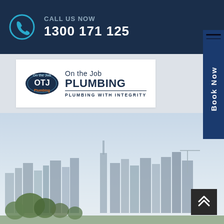CALL US NOW 1300 171 125
[Figure (logo): On the Job Plumbing logo with OTJ badge and text 'On the Job PLUMBING - PLUMBING WITH INTEGRITY']
[Figure (photo): Sydney city skyline panorama with buildings, trees and sky]
Book Now
[Figure (illustration): Scroll-to-top button with chevron arrows]